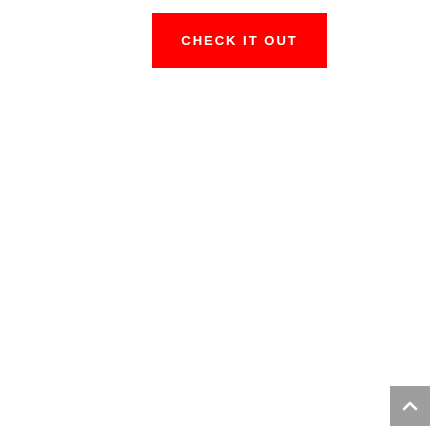[Figure (other): A red rectangular button with white uppercase text reading 'CHECK IT OUT', centered in the upper portion of the page]
[Figure (other): A gray square button with a white upward-pointing chevron/arrow icon, positioned in the lower-right area of the page]